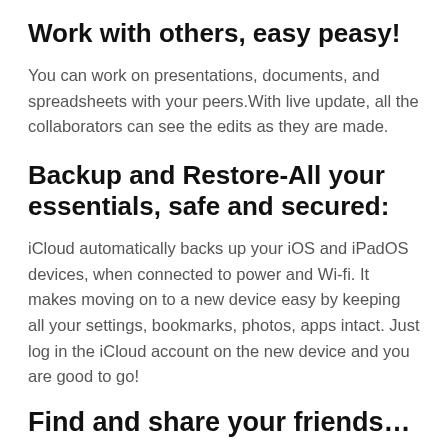Work with others, easy peasy!
You can work on presentations, documents, and spreadsheets with your peers.With live update, all the collaborators can see the edits as they are made.
Backup and Restore-All your essentials, safe and secured:
iCloud automatically backs up your iOS and iPadOS devices, when connected to power and Wi-fi. It makes moving on to a new device easy by keeping all your settings, bookmarks, photos, apps intact. Just log in the iCloud account on the new device and you are good to go!
Find and share your friends…